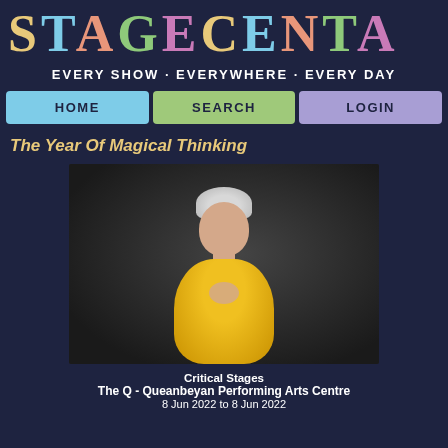STAGECENTA
EVERY SHOW • EVERYWHERE • EVERY DAY
HOME | SEARCH | LOGIN
The Year Of Magical Thinking
[Figure (photo): An older woman with short white/grey hair wearing a yellow sweater, hands clasped near her face, posed against a dark background.]
Critical Stages
The Q - Queanbeyan Performing Arts Centre
8 Jun 2022 to 8 Jun 2022